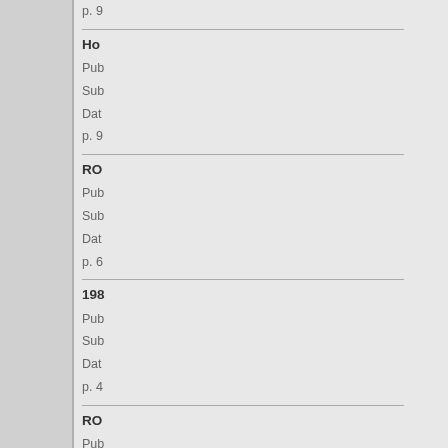p. 9
Ho
Pub
Sub
Dat
p. 9
RO
Pub
Sub
Dat
p. 6
198
Pub
Sub
Dat
p. 4
RO
Pub